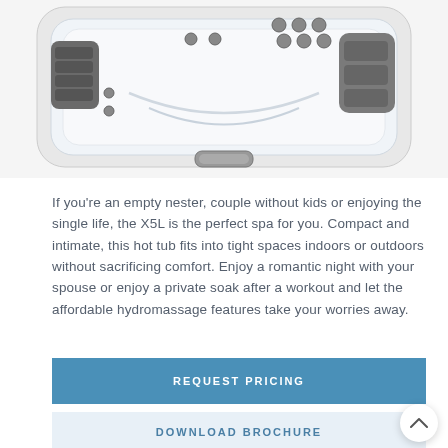[Figure (photo): Top-down view of a white X5L hot tub/spa with gray accents, jets, and built-in seating, shown against a white background.]
If you’re an empty nester, couple without kids or enjoying the single life, the X5L is the perfect spa for you. Compact and intimate, this hot tub fits into tight spaces indoors or outdoors without sacrificing comfort. Enjoy a romantic night with your spouse or enjoy a private soak after a workout and let the affordable hydromassage features take your worries away.
REQUEST PRICING
DOWNLOAD BROCHURE